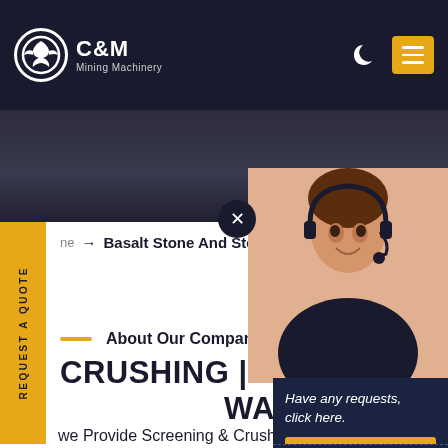C&M Mining Machinery
ne → Basalt Stone And Steel
About Our Company
CRUSHING | SCREENING | WASHING
we Provide Screening & Crushing Equipment To Serve The Quarry, Construction, Recycling, Mining, And Sand
Have any requests, click here.
Quotation
Enquiry
drobilkalm@gmail.com